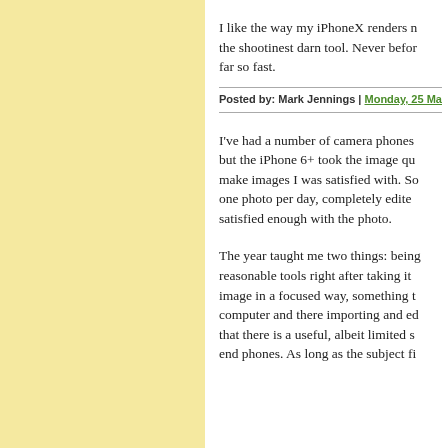I like the way my iPhoneX renders n... the shootinest darn tool. Never befor... far so fast.
Posted by: Mark Jennings | Monday, 25 March 2019 a...
I've had a number of camera phones but the iPhone 6+ took the image qu... make images I was satisfied with. So... one photo per day, completely edite... satisfied enough with the photo.
The year taught me two things: being... reasonable tools right after taking it... image in a focused way, something t... computer and there importing and ed... that there is a useful, albeit limited s... end phones. As long as the subject fi...